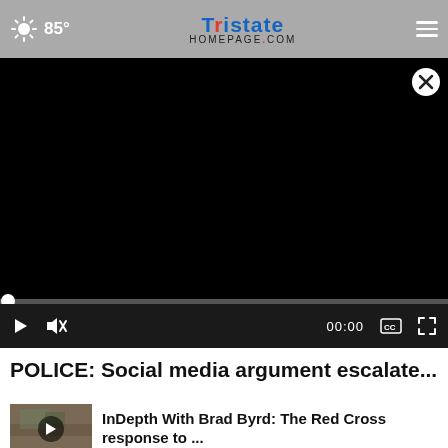85° | TRISTATE HOMEPAGE.com
[Figure (screenshot): Video player showing a black screen with close button, progress bar, and playback controls showing 00:00]
POLICE: Social media argument escalate...
[Figure (photo): Thumbnail image for related video article with play button overlay]
InDepth With Brad Byrd: The Red Cross response to ...